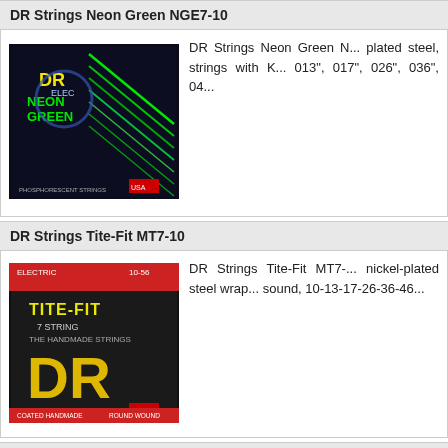DR Strings Neon Green NGE7-10
[Figure (photo): DR Strings Neon Green guitar string package with green neon strings visible]
DR Strings Neon Green N... plated steel, strings with K... 013", 017", 026", 036", 04...
DR Strings Tite-Fit MT7-10
[Figure (photo): DR Strings Tite-Fit MT7 black package with yellow DR logo]
DR Strings Tite-Fit MT7-... nickel-plated steel wrap... sound, 10-13-17-26-36-46...
Elixir Nanoweb 12057 Light 7 String
[Figure (photo): Elixir Nanoweb 12057 blue package with Elixir logo]
Elixir Nanoweb 12057 Lig... 013-017-026-036-046-056...
Elixir Nanoweb 12074 Light/Heavy 7
[Figure (photo): Elixir Nanoweb 12074 blue package with Elixir logo]
Elixir Nanoweb 12074 7-s... string guitar, Nanoweb c... against common corrosio... edasi